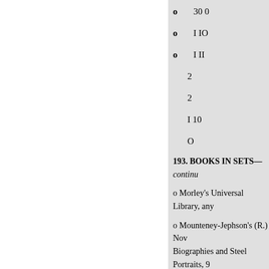o   30 0
o   I IO
o   I II
2
2
I 10
O
193. BOOKS IN SETS—continu
o Morley's Universal Library, any
o Mounteney-Jephson's (R.) Nov
Biographies and Steel Portraits, 9
royal 8vo.
o Old Poets (The), 4 vols., n
o Ormerod's Cheshire, 3 vo